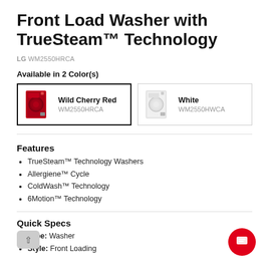Front Load Washer with TrueSteam™ Technology
LG WM2550HRCA
Available in 2 Color(s)
Wild Cherry Red WM2550HRCA (selected), White WM2550HWCA
Features
TrueSteam™ Technology Washers
Allergiene™ Cycle
ColdWash™ Technology
6Motion™ Technology
Quick Specs
Type: Washer
Style: Front Loading